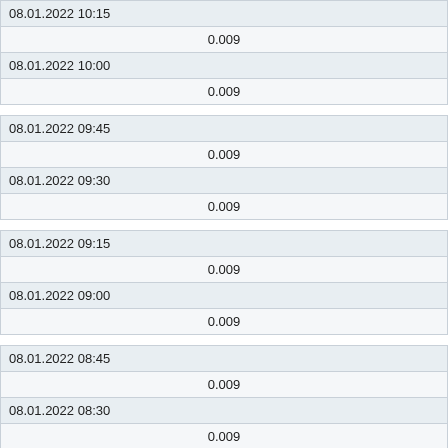| 08.01.2022 10:15 (partial) |
| 0.009 |
| 08.01.2022 10:00 |
| 0.009 |
| 08.01.2022 09:45 |
| 0.009 |
| 08.01.2022 09:30 |
| 0.009 |
| 08.01.2022 09:15 |
| 0.009 |
| 08.01.2022 09:00 |
| 0.009 |
| 08.01.2022 08:45 |
| 0.009 |
| 08.01.2022 08:30 |
| 0.009 |